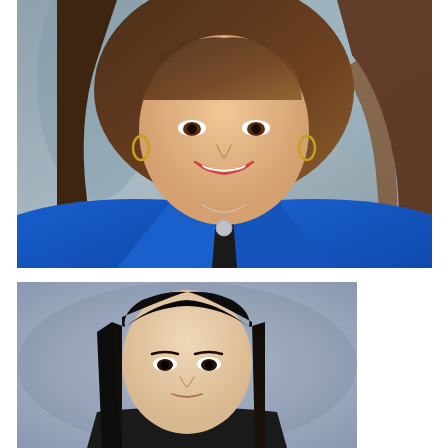[Figure (photo): Professional headshot of a woman smiling, wearing a bright blue blazer over a black top, with a silver necklace. She has long wavy brown hair. Background appears to be a blurred indoor/outdoor setting.]
[Figure (photo): Professional headshot of a young woman with straight dark hair, wearing a dark top. She has a neutral expression. Background is a soft blue-gray gradient typical of studio photography.]